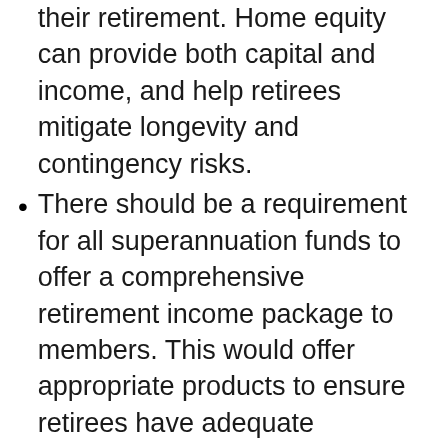and income throughout the course of their retirement. Home equity can provide both capital and income, and help retirees mitigate longevity and contingency risks.
There should be a requirement for all superannuation funds to offer a comprehensive retirement income package to members. This would offer appropriate products to ensure retirees have adequate retirement funding and should include access to home equity retirement funding. This should be a legislated minimum service provision for all super funds.
Reverse mortgage brokers are exempt from a best interest test and prohibition of...